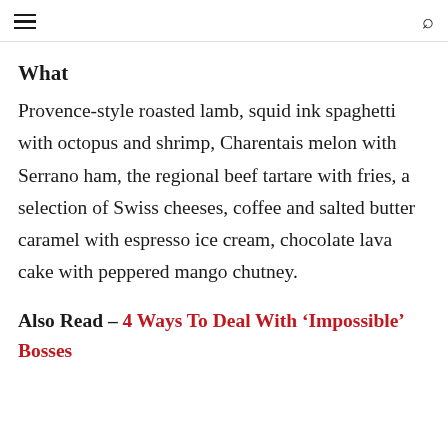≡  🔍
What
Provence-style roasted lamb, squid ink spaghetti with octopus and shrimp, Charentais melon with Serrano ham, the regional beef tartare with fries, a selection of Swiss cheeses, coffee and salted butter caramel with espresso ice cream, chocolate lava cake with peppered mango chutney.
Also Read – 4 Ways To Deal With 'Impossible' Bosses